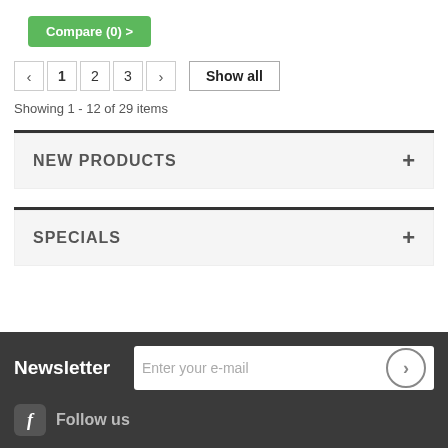Compare (0) >
< 1 2 3 > Show all
Showing 1 - 12 of 29 items
NEW PRODUCTS +
SPECIALS +
Newsletter
Enter your e-mail
Follow us